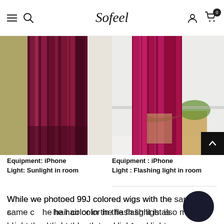Sofeel — navigation bar with hamburger menu, search, logo, account icon, cart (0)
[Figure (photo): Two side-by-side photos of a long burgundy/99J colored wig. Left photo taken with iPhone in sunlight in room. Right photo taken with iPhone using flashing light in room.]
Equipment: iPhone
Light: Sunlight in room
Equipment : iPhone
Light : Flashing light in room
While we photoed 99J colored wigs with the same camera, the hair color in the flash light is also more bright than that in the natural light.